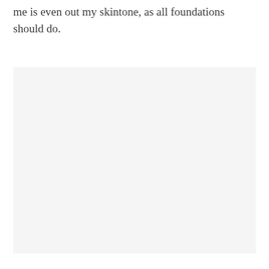me is even out my skintone, as all foundations should do.
[Figure (photo): Large light gray rectangular image placeholder area occupying the lower portion of the page]